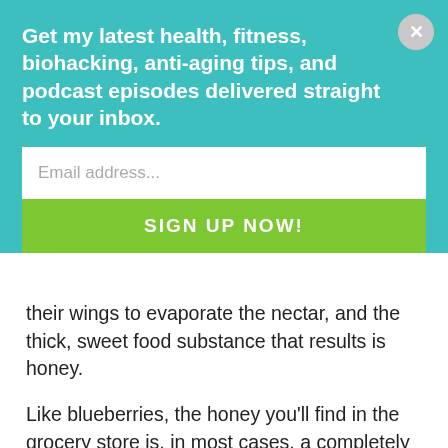Get my latest health, fitness, biohacking, anti-aging tips, and podcast episodes delivered straight to your inbox.
Email address...
SIGN UP NOW!
their wings to evaporate the nectar, and the thick, sweet food substance that results is honey.
Like blueberries, the honey you'll find in the grocery store is, in most cases, a completely different product than what you get in the wild, original form. The health benefits of raw, organic honey are well-known as a way to strengthen the immune system and add healthy sweetness to tea or any food. Honey may in fact be the world's perfect sweetener as it, interesting enough, actually stabilizes your blood